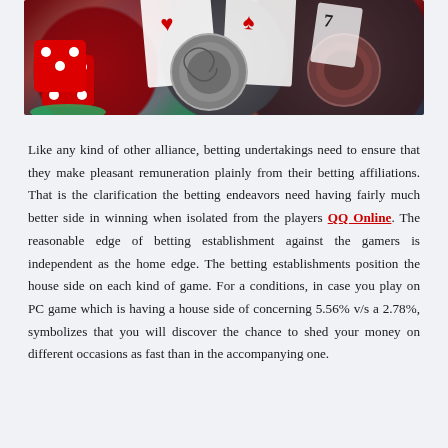[Figure (photo): Close-up photo of casino chips and playing cards including red dice stacked on green and white poker chips, with decorative spiral-patterned casino chips in the foreground and playing cards (showing hearts suits) in the background.]
Like any kind of other alliance, betting undertakings need to ensure that they make pleasant remuneration plainly from their betting affiliations. That is the clarification the betting endeavors need having fairly much better side in winning when isolated from the players QQ Online. The reasonable edge of betting establishment against the gamers is independent as the home edge. The betting establishments position the house side on each kind of game. For a conditions, in case you play on PC game which is having a house side of concerning 5.56% v/s a 2.78%, symbolizes that you will discover the chance to shed your money on different occasions as fast than in the accompanying one.